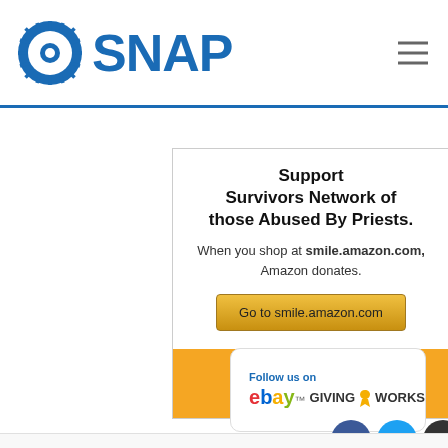SNAP
Support Survivors Network of those Abused By Priests.
When you shop at smile.amazon.com, Amazon donates.
Go to smile.amazon.com
[Figure (logo): Amazon Smile logo on orange background]
[Figure (logo): eBay Giving Works logo with heart icon and Follow us on text]
SHARE